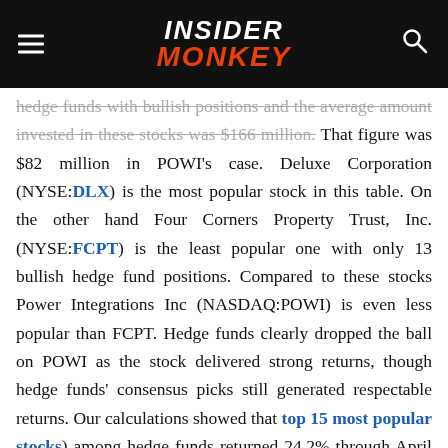INSIDER MONKEY
hedge funds with bullish positions and the average amount invested in these stocks was $166 million. That figure was $82 million in POWI's case. Deluxe Corporation (NYSE:DLX) is the most popular stock in this table. On the other hand Four Corners Property Trust, Inc. (NYSE:FCPT) is the least popular one with only 13 bullish hedge fund positions. Compared to these stocks Power Integrations Inc (NASDAQ:POWI) is even less popular than FCPT. Hedge funds clearly dropped the ball on POWI as the stock delivered strong returns, though hedge funds' consensus picks still generated respectable returns. Our calculations showed that top 15 most popular stocks) among hedge funds returned 24.2% through April 22nd and